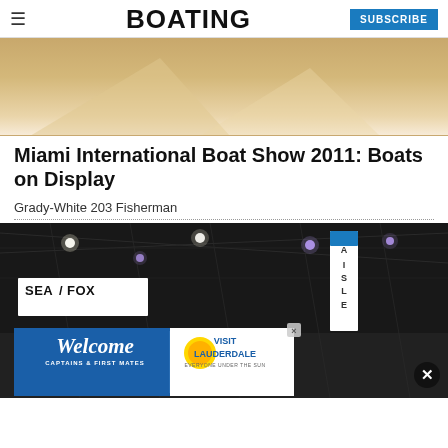BOATING | SUBSCRIBE
[Figure (photo): Close-up photo of boat hull interior, cream/beige colored fiberglass surfaces]
Miami International Boat Show 2011: Boats on Display
Grady-White 203 Fisherman
[Figure (photo): Indoor boat show floor with dark ceiling, structural grid visible, ceiling lights illuminated, SeaFox brand banner on left, vertical aisle sign on right, advertisement overlay at bottom reading 'Welcome Captains & First Mates / Visit Lauderdale Everyone Under the Sun']